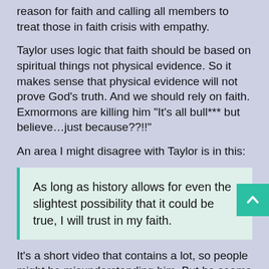reason for faith and calling all members to treat those in faith crisis with empathy.
Taylor uses logic that faith should be based on spiritual things not physical evidence. So it makes sense that physical evidence will not prove God’s truth. And we should rely on faith. Exmormons are killing him “It's all bull*** but believe…just because??!!”
An area I might disagree with Taylor is in this:
As long as history allows for even the slightest possibility that it could be true, I will trust in my faith.
It’s a short video that contains a lot, so people might be misunderstanding him. But he seems to be reverting back to the idea of “just believing” in something that evidence is showing is impossible to believe in. Faith exists outside of literal belief. And as Taylor rightly implies in other parts of the video, there are many aspects of LDS faith that are outside some of the the literal claims that evidence is